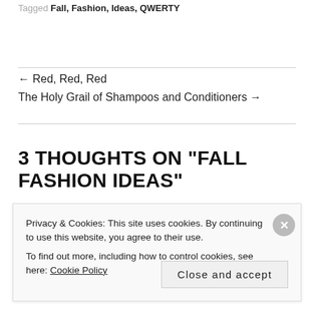Tagged Fall, Fashion, Ideas, QWERTY
← Red, Red, Red
The Holy Grail of Shampoos and Conditioners →
3 THOUGHTS ON "FALL FASHION IDEAS"
Privacy & Cookies: This site uses cookies. By continuing to use this website, you agree to their use. To find out more, including how to control cookies, see here: Cookie Policy